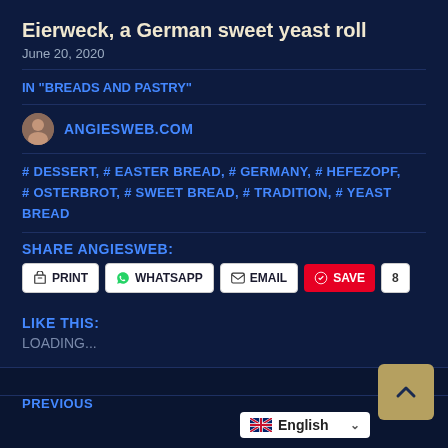Eierweck, a German sweet yeast roll
June 20, 2020
IN "BREADS AND PASTRY"
ANGIESWEB.COM
# DESSERT, # EASTER BREAD, # GERMANY, # HEFEZOPF, # OSTERBROT, # SWEET BREAD, # TRADITION, # YEAST BREAD
SHARE ANGIESWEB:
PRINT  WHATSAPP  EMAIL  SAVE  8
LIKE THIS:
LOADING...
PREVIOUS
English